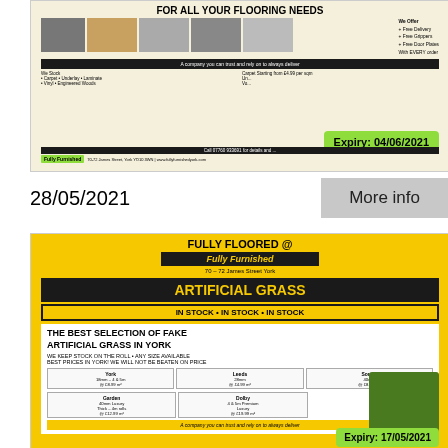[Figure (photo): Advertisement for Fully Furnished flooring company showing flooring product images, 'FOR ALL YOUR FLOORING NEEDS' headline, offers for free delivery/grippers/door plates, and an expiry badge showing 04/06/2021]
28/05/2021
More info
[Figure (photo): Advertisement for Fully Floored @ Fully Furnished, 70-72 James Street York, featuring Artificial Grass in stock, 'THE BEST SELECTION OF FAKE ARTIFICIAL GRASS IN YORK', price table showing York, Leeds, Sorreli, Garden, Dolby varieties with prices]